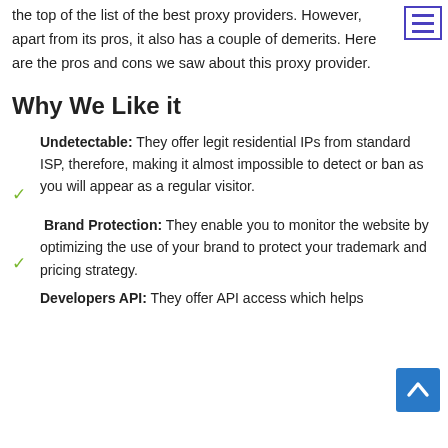the top of the list of the best proxy providers. However, apart from its pros, it also has a couple of demerits. Here are the pros and cons we saw about this proxy provider.
Why We Like it
Undetectable: They offer legit residential IPs from standard ISP, therefore, making it almost impossible to detect or ban as you will appear as a regular visitor.
Brand Protection: They enable you to monitor the website by optimizing the use of your brand to protect your trademark and pricing strategy.
Developers API: They offer API access which helps